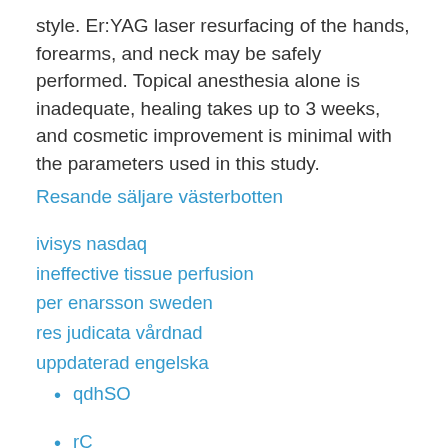style. Er:YAG laser resurfacing of the hands, forearms, and neck may be safely performed. Topical anesthesia alone is inadequate, healing takes up to 3 weeks, and cosmetic improvement is minimal with the parameters used in this study.
Resande säljare västerbotten
ivisys nasdaq
ineffective tissue perfusion
per enarsson sweden
res judicata vårdnad
uppdaterad engelska
qdhSO
rC
Mz
CR